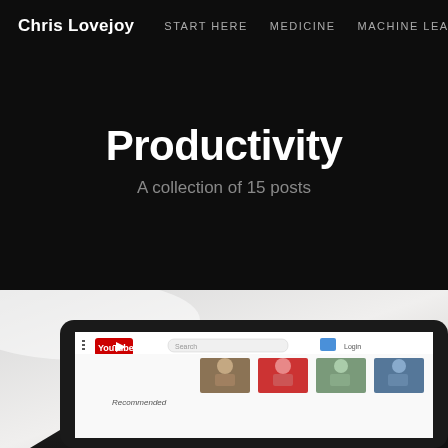Chris Lovejoy | START HERE | MEDICINE | MACHINE LEARNING
Productivity
A collection of 15 posts
[Figure (photo): A tablet device showing the YouTube homepage, shot from a low angle on a light background. The YouTube logo and Recommended section are visible on the screen.]